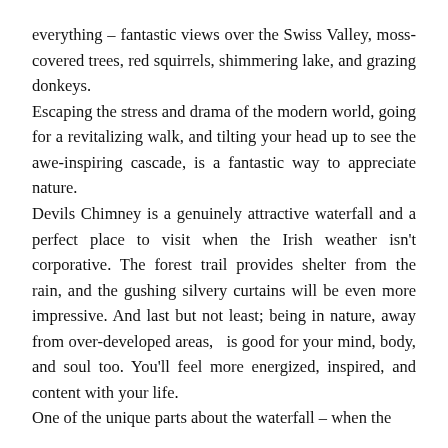everything – fantastic views over the Swiss Valley, moss-covered trees, red squirrels, shimmering lake, and grazing donkeys.
Escaping the stress and drama of the modern world, going for a revitalizing walk, and tilting your head up to see the awe-inspiring cascade, is a fantastic way to appreciate nature.
Devils Chimney is a genuinely attractive waterfall and a perfect place to visit when the Irish weather isn't corporative. The forest trail provides shelter from the rain, and the gushing silvery curtains will be even more impressive. And last but not least; being in nature, away from over-developed areas,  is good for your mind, body, and soul too. You'll feel more energized, inspired, and content with your life.
One of the unique parts about the waterfall – when the